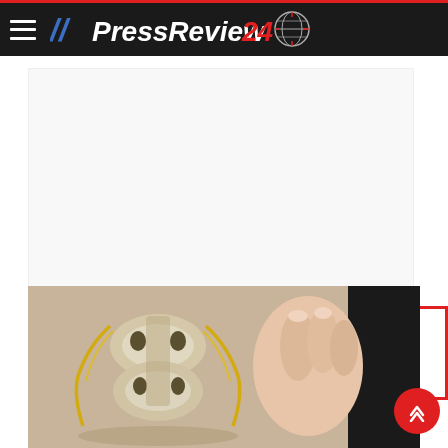// PressReview 24
[Figure (photo): Medical/anatomical illustration showing a spine and spinal cord with yellow nerve highlights, alongside a human hand, visible at the bottom of the page.]